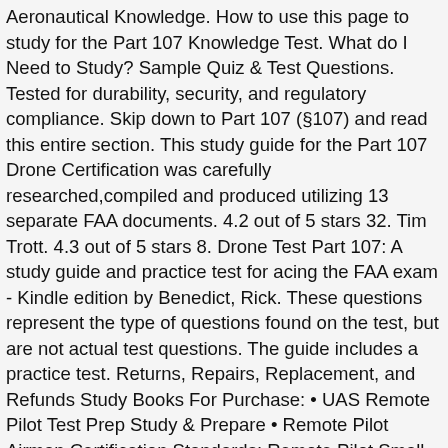Aeronautical Knowledge. How to use this page to study for the Part 107 Knowledge Test. What do I Need to Study? Sample Quiz & Test Questions. Tested for durability, security, and regulatory compliance. Skip down to Part 107 (§107) and read this entire section. This study guide for the Part 107 Drone Certification was carefully researched,compiled and produced utilizing 13 separate FAA documents. 4.2 out of 5 stars 32. Tim Trott. 4.3 out of 5 stars 8. Drone Test Part 107: A study guide and practice test for acing the FAA exam - Kindle edition by Benedict, Rick. These questions represent the type of questions found on the test, but are not actual test questions. The guide includes a practice test. Returns, Repairs, Replacement, and Refunds Study Books For Purchase: • UAS Remote Pilot Test Prep Study & Prepare • Remote Pilot Airman Certification Standards: Remote Pilot Small Unmanned Aircraft Systems I now know the difference between air spaces, what a METAR is, etc. Use features like bookmarks, note taking and highlighting while reading Drone Test Part 107: A study guide and practice test for acing the FAA exam. While the Part 107 regulations